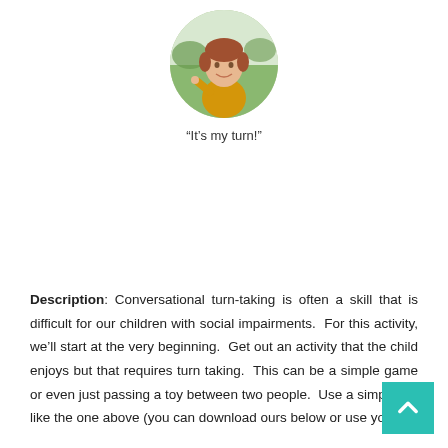[Figure (photo): Circular portrait photo of a young woman with short reddish hair wearing a yellow floral top, outdoors with a grassy background]
“It’s my turn!”
Description: Conversational turn-taking is often a skill that is difficult for our children with social impairments. For this activity, we’ll start at the very beginning. Get out an activity that the child enjoys but that requires turn taking. This can be a simple game or even just passing a toy between two people. Use a simple aid like the one above (you can download ours below or use your own) and show the child that the child’s turn comes around.